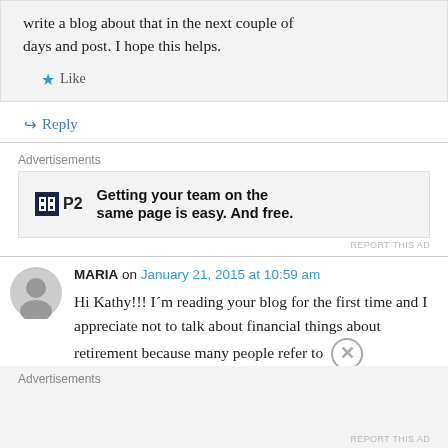write a blog about that in the next couple of days and post. I hope this helps.
Like
Reply
Advertisements
Getting your team on the same page is easy. And free.
REPORT THIS AD
MARIA on January 21, 2015 at 10:59 am
Hi Kathy!!! I´m reading your blog for the first time and I appreciate not to talk about financial things about retirement because many people refer to
Advertisements
REPORT THIS AD